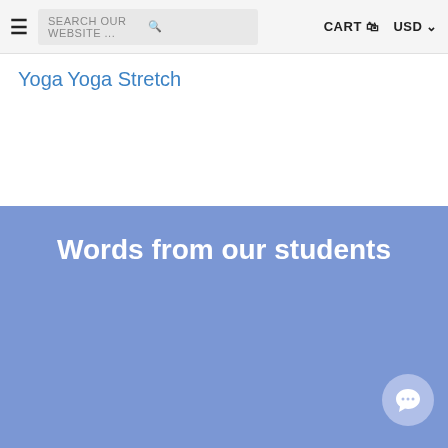SEARCH OUR WEBSITE ... | CART | USD
Yoga
Yoga Stretch
Words from our students
Love the way you are helping us make the best of our careers with these trigger point courses! Looking forward to my certification!